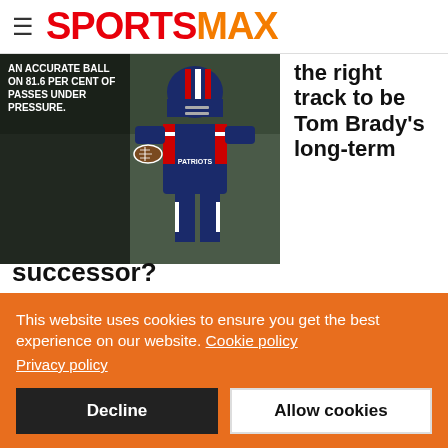SPORTSMAX
[Figure (photo): NFL quarterback in New England Patriots uniform holding football, with stat overlay text reading AN ACCURATE BALL ON 81.6 PER CENT OF PASSES UNDER PRESSURE.]
the right track to be Tom Brady's long-term successor?
October 01, 2021
There probably won't be too much focus on Mac Jones come
This website uses cookies to ensure you get the best experience on our website. Cookie policy Privacy policy
Decline | Allow cookies